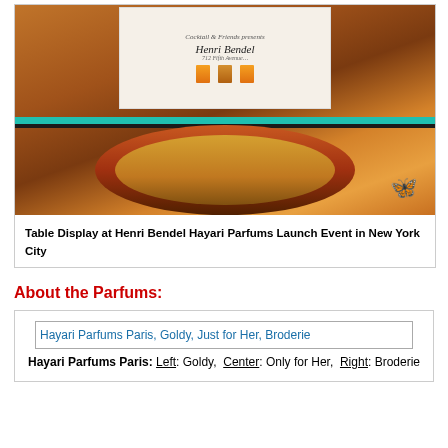[Figure (photo): Photo of a table display at Henri Bendel Hayari Parfums Launch Event in New York City, showing a decorative card/sign on a wooden display table with a teal stripe, perfume bottles visible, and a blue butterfly in the lower right.]
Table Display at Henri Bendel Hayari Parfums Launch Event in New York City
About the Parfums:
[Figure (photo): Image placeholder showing: Hayari Parfums Paris, Goldy, Just for Her, Broderie]
Hayari Parfums Paris: Left: Goldy,  Center: Only for Her,  Right: Broderie